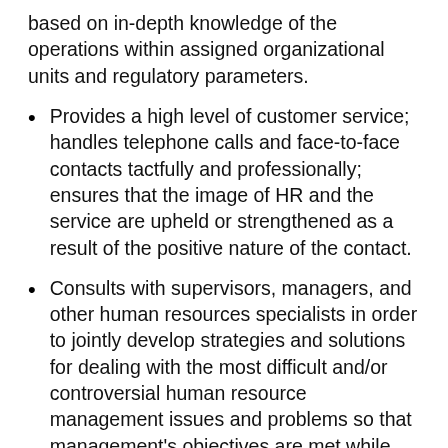based on in-depth knowledge of the operations within assigned organizational units and regulatory parameters.
Provides a high level of customer service; handles telephone calls and face-to-face contacts tactfully and professionally; ensures that the image of HR and the service are upheld or strengthened as a result of the positive nature of the contact.
Consults with supervisors, managers, and other human resources specialists in order to jointly develop strategies and solutions for dealing with the most difficult and/or controversial human resource management issues and problems so that management's objectives are met while staying within legal requirements.
Resolves very difficult and complex position management and position classification issues